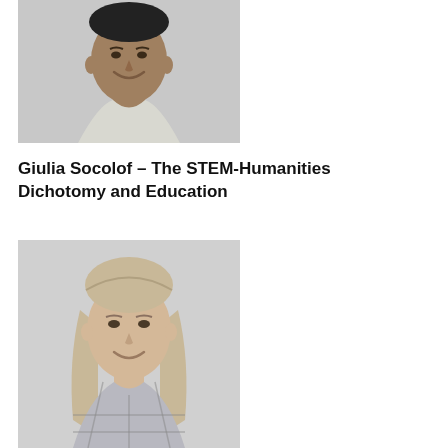[Figure (photo): Black and white headshot of a smiling man in a collared shirt, cropped at shoulders]
Giulia Socolof – The STEM-Humanities Dichotomy and Education
[Figure (photo): Black and white headshot of a young woman with long straight hair, smiling, wearing a plaid shirt]